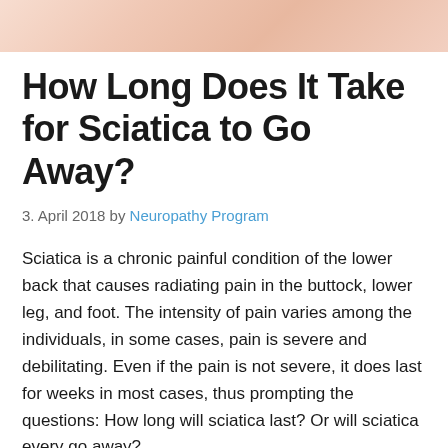[Figure (photo): Partial view of a person's lower back or body, skin-toned image cropped at top of page]
How Long Does It Take for Sciatica to Go Away?
3. April 2018 by Neuropathy Program
Sciatica is a chronic painful condition of the lower back that causes radiating pain in the buttock, lower leg, and foot. The intensity of pain varies among the individuals, in some cases, pain is severe and debilitating. Even if the pain is not severe, it does last for weeks in most cases, thus prompting the questions: How long will sciatica last? Or will sciatica every go away?